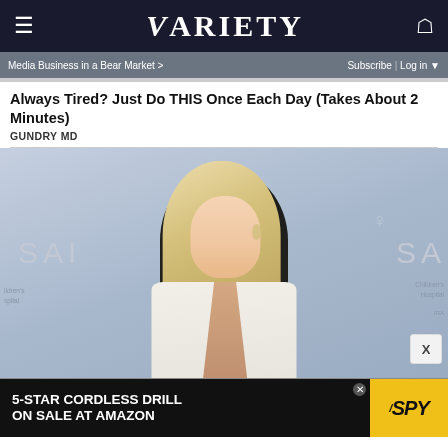VARIETY
Media Business in a Bear Market >
Subscribe | Log in
Always Tired? Just Do THIS Once Each Day (Takes About 2 Minutes)
GUNDRY MD
[Figure (photo): A blonde woman in a white outfit standing in front of a backdrop with 'SAINTS' and 'Children's Hospital' text]
5-STAR CORDLESS DRILL ON SALE AT AMAZON
[Figure (logo): SPY logo in yellow background with slash mark]